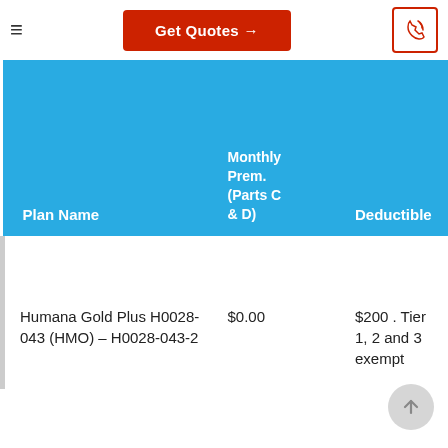Get Quotes →
| Plan Name | Monthly Prem. (Parts C & D) | Deductible |
| --- | --- | --- |
| Humana Gold Plus H0028-043 (HMO) – H0028-043-2 | $0.00 | $200 . Tier 1, 2 and 3 exempt |